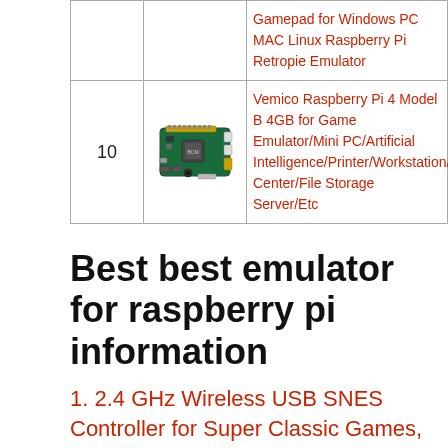| # | Image | Product |
| --- | --- | --- |
|  |  | Gamepad for Windows PC MAC Linux Raspberry Pi Retropie Emulator |
| 10 | [image] | Vemico Raspberry Pi 4 Model B 4GB for Game Emulator/Mini PC/Artificial Intelligence/Printer/Workstation/Media Center/File Storage Server/Etc |
Best best emulator for raspberry pi information
1. 2.4 GHz Wireless USB SNES Controller for Super Classic Games, iNNEXT Retro USB PC